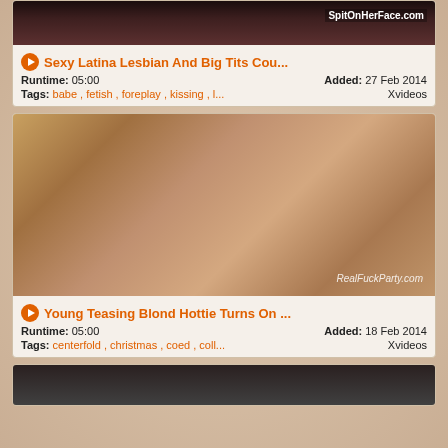[Figure (screenshot): Partial video thumbnail at top of page, dark reddish tones with SpitOnHerFace.com watermark]
Sexy Latina Lesbian And Big Tits Cou... Runtime: 05:00 Added: 27 Feb 2014 Tags: babe , fetish , foreplay , kissing , l... Xvideos
[Figure (screenshot): Large video thumbnail showing person with RealFuckParty.com watermark]
Young Teasing Blond Hottie Turns On ... Runtime: 05:00 Added: 18 Feb 2014 Tags: centerfold , christmas , coed , coll... Xvideos
[Figure (screenshot): Partial video thumbnail at bottom of page, dark tones]